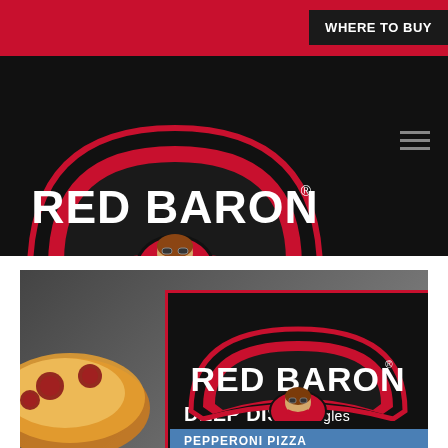WHERE TO BUY
[Figure (logo): Red Baron brand logo on black navigation bar — arched black shield shape with red border, 'RED BARON' in white bold text, aviator mascot figure below]
[Figure (logo): Red Baron Deep Dish Singles Pepperoni Pizza product box — Red Baron logo on dark background, 'DEEP DISH Singles' text, blue band reading 'PEPPERONI PIZZA / PEPPERONI MADE WITH PORK, CHICKEN & BEEF', pizza visible on left side]